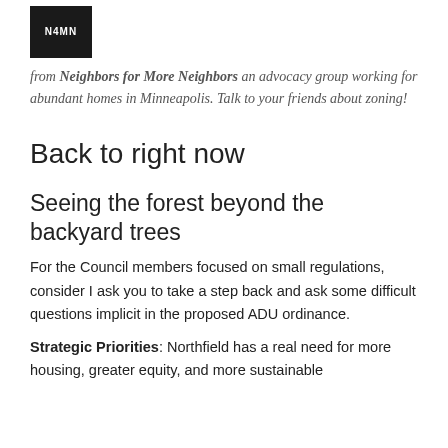[Figure (logo): Dark square logo with white text, partially visible, from Neighbors for More Neighbors organization]
from Neighbors for More Neighbors an advocacy group working for abundant homes in Minneapolis. Talk to your friends about zoning!
Back to right now
Seeing the forest beyond the backyard trees
For the Council members focused on small regulations, consider I ask you to take a step back and ask some difficult questions implicit in the proposed ADU ordinance.
Strategic Priorities: Northfield has a real need for more housing, greater equity, and more sustainable